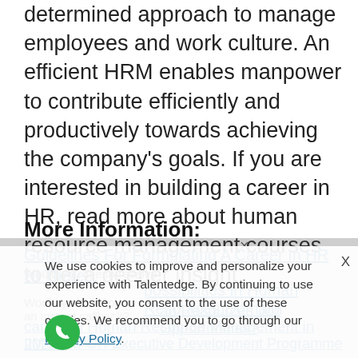determined approach to manage employees and work culture. An efficient HRM enables manpower to contribute efficiently and productively towards achieving the company's goals. If you are interested in building a career in HR, read more about human resource management courses to get a deeper insight.
More Information:
Guidelines For Formulating A Career In HR
Hi There...
possibilities in Human Resources Domain
Would you like to... an Resources Job Opportunities?
career in Human Resource Management in 2022?
IIM KANPUR Executive Development Programme
We use cookies to improve and personalize your experience with Talentedge. By continuing to use our website, you consent to the use of these cookies. We recommend you to go through our Privacy Policy.